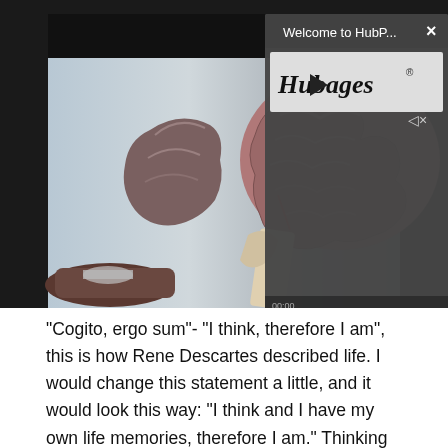[Figure (screenshot): Screenshot of a HubPages website with a video popup overlay showing the HubPages logo with a play button, title 'Welcome to HubP...' and an X close button. Behind the overlay is a photo of an anatomical brain model.]
"Cogito, ergo sum"- "I think, therefore I am", this is how Rene Descartes described life. I would change this statement a little, and it would look this way: "I think and I have my own life memories, therefore I am." Thinking alone would not be useful if we couldn't create and store new memories every